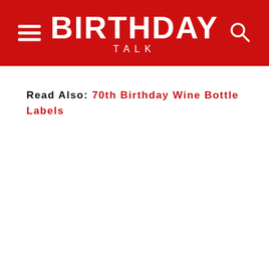BIRTHDAY TALK
Read Also: 70th Birthday Wine Bottle Labels